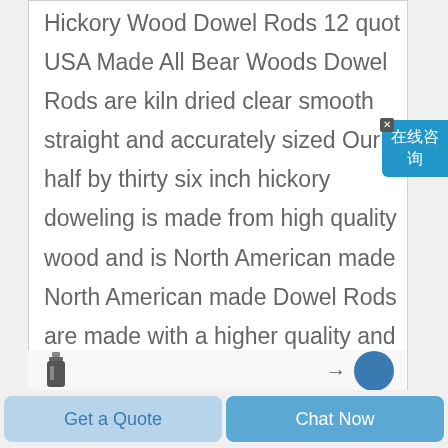Hickory Wood Dowel Rods 12 quot USA Made All Bear Woods Dowel Rods are kiln dried clear smooth straight and accurately sized Our half by thirty six inch hickory doweling is made from high quality wood and is North American made North American made Dowel Rods are made with a higher quality and standard than those imported
[Figure (screenshot): Chinese chat widget button on right side showing 在线咨询 (online consultation) with close X button]
[Figure (screenshot): Bottom bar showing product icon thumbnail on left and arrow/navigation icon on right, with a blue circle chat button]
Get a Quote
Chat Now